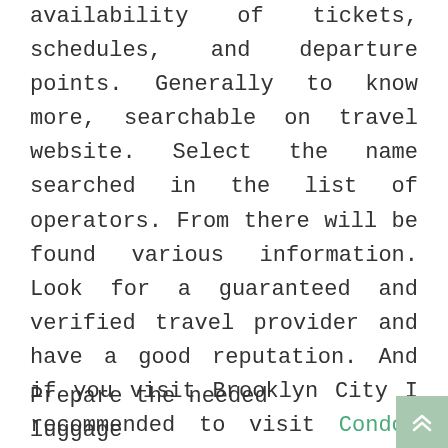availability of tickets, schedules, and departure points. Generally to know more, searchable on travel website. Select the name searched in the list of operators. From there will be found various information. Look for a guaranteed and verified travel provider and have a good reputation. And if you visit Brooklyn City I recommended to visit Condor Hotel Williamsburg, Brooklyn.
Prepare the needed luggage